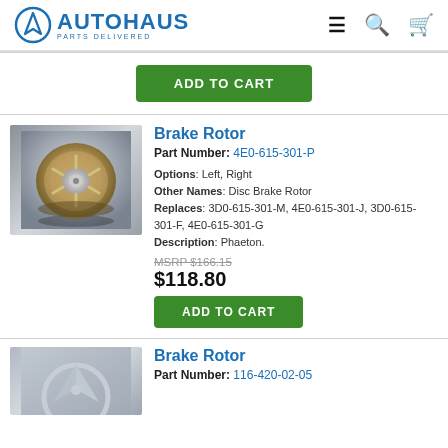[Figure (logo): Autohaus Parts Delivered logo with circular A icon in blue]
ADD TO CART
Brake Rotor
Part Number: 4E0-615-301-P
Options: Left, Right
Other Names: Disc Brake Rotor
Replaces: 3D0-615-301-M, 4E0-615-301-J, 3D0-615-301-F, 4E0-615-301-G
Description: Phaeton.
MSRP $166.15
$118.80
ADD TO CART
Brake Rotor
Part Number: 116-420-02-05